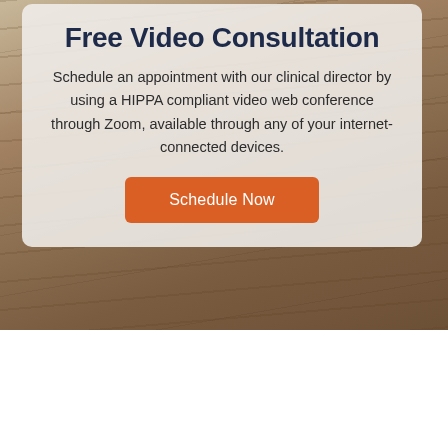[Figure (photo): Background photo of a room with wooden floor planks visible, partially obscured by a semi-transparent card overlay]
Free Video Consultation
Schedule an appointment with our clinical director by using a HIPPA compliant video web conference through Zoom, available through any of your internet-connected devices.
Schedule Now